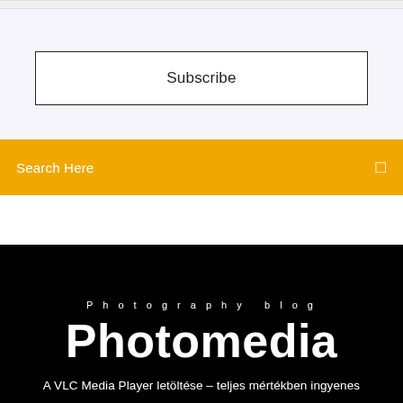[Figure (screenshot): Top bar strip from a website UI, light gray background]
Subscribe
Search Here
Photography blog
Photomedia
A VLC Media Player letöltése – teljes mértékben ingyenes